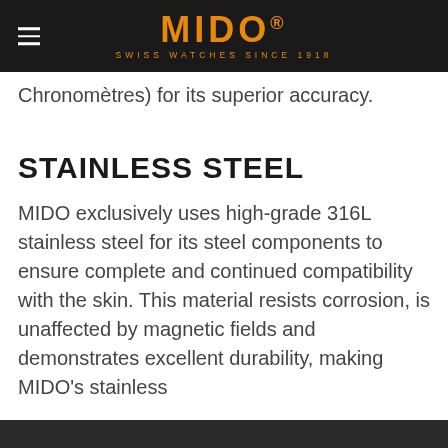MIDO® SWISS WATCHES SINCE 1918
Chronomètres) for its superior accuracy.
STAINLESS STEEL
MIDO exclusively uses high-grade 316L stainless steel for its steel components to ensure complete and continued compatibility with the skin. This material resists corrosion, is unaffected by magnetic fields and demonstrates excellent durability, making MIDO's stainless